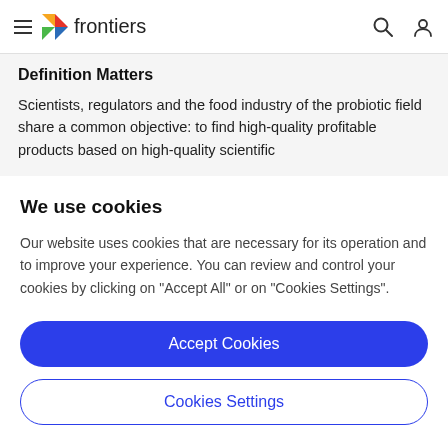frontiers
Definition Matters
Scientists, regulators and the food industry of the probiotic field share a common objective: to find high-quality profitable products based on high-quality scientific
We use cookies
Our website uses cookies that are necessary for its operation and to improve your experience. You can review and control your cookies by clicking on "Accept All" or on "Cookies Settings".
Accept Cookies
Cookies Settings